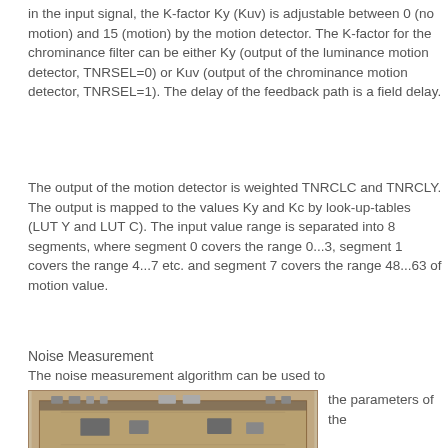in the input signal, the K-factor Ky (Kuv) is adjustable between 0 (no motion) and 15 (motion) by the motion detector. The K-factor for the chrominance filter can be either Ky (output of the luminance motion detector, TNRSEL=0) or Kuv (output of the chrominance motion detector, TNRSEL=1). The delay of the feedback path is a field delay.
The output of the motion detector is weighted TNRCLC and TNRCLY. The output is mapped to the values Ky and Kc by look-up-tables (LUT Y and LUT C). The input value range is separated into 8 segments, where segment 0 covers the range 0...3, segment 1 covers the range 4...7 etc. and segment 7 covers the range 48...63 of motion value.
Noise Measurement
The noise measurement algorithm can be used to change the parameters of the
[Figure (photo): Photo of a circuit board or hardware component with a rectangular form, visible wiring and connectors along the top edge, set against a tan/brown background.]